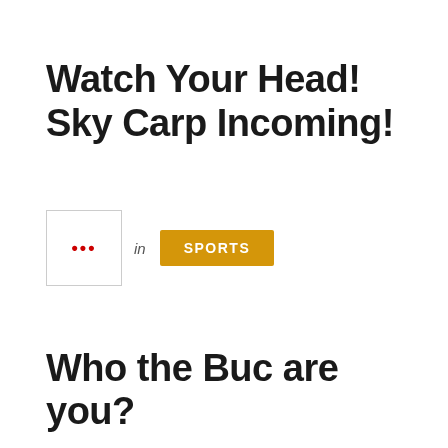Watch Your Head! Sky Carp Incoming!
[Figure (other): Author avatar placeholder with red ellipsis dots inside a bordered square box]
in SPORTS
Who the Buc are you?